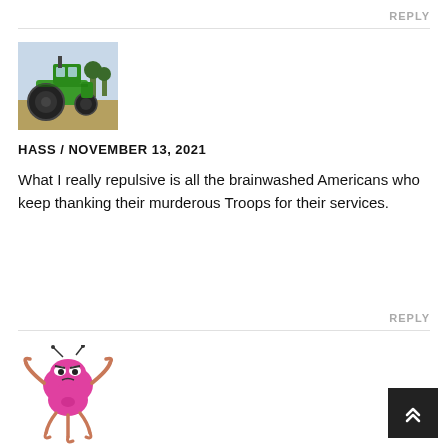REPLY
[Figure (photo): Profile picture showing a green farm tractor outdoors]
HASS / NOVEMBER 13, 2021
What I really repulsive is all the brainwashed Americans who keep thanking their murderous Troops for their services.
REPLY
[Figure (illustration): Cartoon illustration of a pink alien-like creature with antennae and multiple limbs in an aggressive pose]